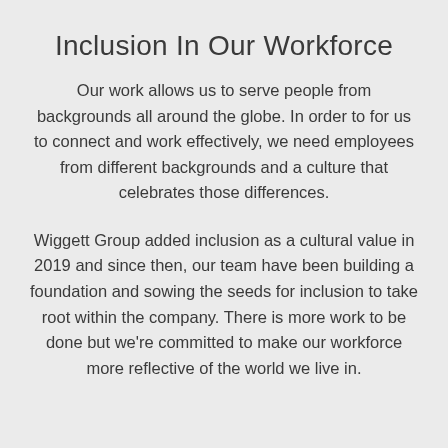Inclusion In Our Workforce
Our work allows us to serve people from backgrounds all around the globe. In order to for us to connect and work effectively, we need employees from different backgrounds and a culture that celebrates those differences.
Wiggett Group added inclusion as a cultural value in 2019 and since then, our team have been building a foundation and sowing the seeds for inclusion to take root within the company. There is more work to be done but we're committed to make our workforce more reflective of the world we live in.